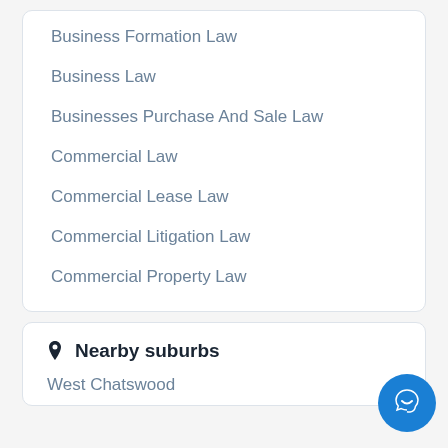Business Formation Law
Business Law
Businesses Purchase And Sale Law
Commercial Law
Commercial Lease Law
Commercial Litigation Law
Commercial Property Law
Nearby suburbs
West Chatswood